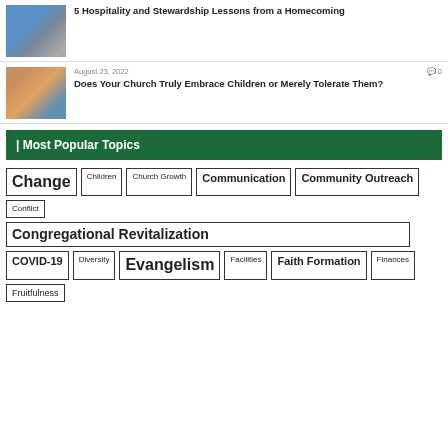[Figure (photo): Two people standing near a building window]
5 Hospitality and Stewardship Lessons from a Homecoming
[Figure (photo): Adults and children interacting, one child being embraced]
August 23, 2022
0 comments
Does Your Church Truly Embrace Children or Merely Tolerate Them?
| Most Popular Topics
Change
Children
Church Growth
Communication
Community Outreach
Conflict
Congregational Revitalization
COVID-19
Diversity
Evangelism
Facilities
Faith Formation
Finances
Fruitfulness